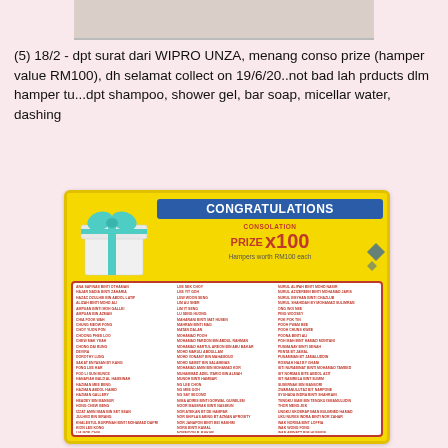[Figure (photo): Partial image at top of page, appears to be a hamper or gift basket]
(5) 18/2 - dpt surat dari WIPRO UNZA, menang conso prize (hamper value RM100), dh selamat collect on 19/6/20..not bad lah prducts dlm hamper tu...dpt shampoo, shower gel, bar soap, micellar water, dashing
[Figure (infographic): CONGRATULATIONS banner with yellow background showing CONSOLATION PRIZE x100 Hampers worth RM100 each, with a list of winners names in three columns on white background with red border]